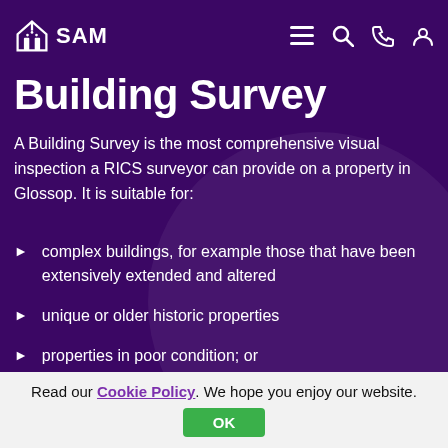SAM (logo with navigation icons: menu, search, phone, account)
Building Survey
A Building Survey is the most comprehensive visual inspection a RICS surveyor can provide on a property in Glossop. It is suitable for:
complex buildings, for example those that have been extensively extended and altered
unique or older historic properties
properties in poor condition; or
those where the client is planning to carry out extensive repair and refurbishment
Read our Cookie Policy. We hope you enjoy our website. OK